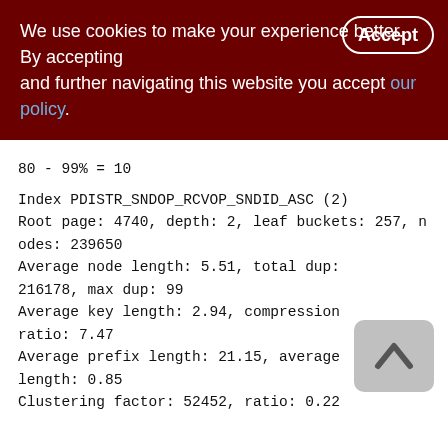We use cookies to make your experience better. By accepting and further navigating this website you accept our policy.
80 - 99% = 10
Index PDISTR_SNDOP_RCVOP_SNDID_ASC (2)
Root page: 4740, depth: 2, leaf buckets: 257, nodes: 239650
Average node length: 5.51, total dup: 216178, max dup: 99
Average key length: 2.94, compression ratio: 7.47
Average prefix length: 21.15, average data length: 0.85
Clustering factor: 52452, ratio: 0.22